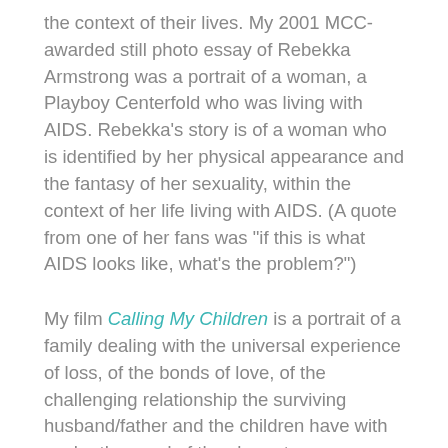the context of their lives. My 2001 MCC-awarded still photo essay of Rebekka Armstrong was a portrait of a woman, a Playboy Centerfold who was living with AIDS. Rebekka's story is of a woman who is identified by her physical appearance and the fantasy of her sexuality, within the context of her life living with AIDS. (A quote from one of her fans was "if this is what AIDS looks like, what's the problem?")
My film Calling My Children is a portrait of a family dealing with the universal experience of loss, of the bonds of love, of the challenging relationship the surviving husband/father and the children have with each other, and of the character development of children who have grown up without their mother.
These projects are not exposes or investigations. They